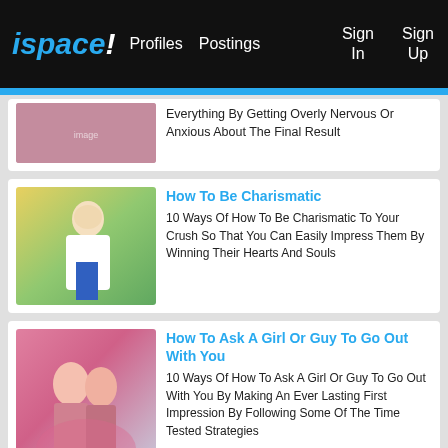ispace! Profiles Postings Sign In Sign Up
Everything By Getting Overly Nervous Or Anxious About The Final Result
How To Be Charismatic
10 Ways Of How To Be Charismatic To Your Crush So That You Can Easily Impress Them By Winning Their Hearts And Souls
How To Ask A Girl Or Guy To Go Out With You
10 Ways Of How To Ask A Girl Or Guy To Go Out With You By Making An Ever Lasting First Impression By Following Some Of The Time Tested Strategies
Meaning And Definition Of Attention And...